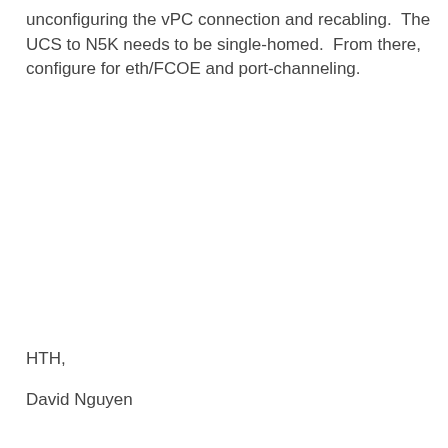unconfiguring the vPC connection and recabling.  The UCS to N5K needs to be single-homed.  From there, configure for eth/FCOE and port-channeling.
HTH,
David Nguyen